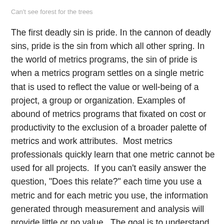Can't see forest for the trees
The first deadly sin is pride. In the cannon of deadly sins, pride is the sin from which all other spring. In the world of metrics programs, the sin of pride is when a metrics program settles on a single metric that is used to reflect the value or well-being of a project, a group or organization. Examples of abound of metrics programs that fixated on cost or productivity to the exclusion of a broader palette of metrics and work attributes.  Most metrics professionals quickly learn that one metric cannot be used for all projects.  If you can’t easily answer the question, “Does this relate?” each time you use a metric and for each metric you use, the information generated through measurement and analysis will provide little or no value.  The goal is to understand the differences between